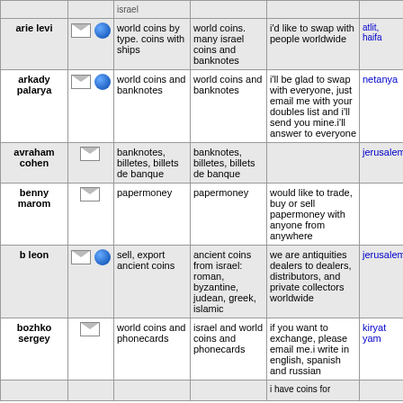| name | icons | have | want | remarks | city | date |
| --- | --- | --- | --- | --- | --- | --- |
| arie levi |  | world coins by type. coins with ships | world coins. many israel coins and banknotes | i'd like to swap with people worldwide | atlit, haifa | 14oct20 |
| arkady palarya |  | world coins and banknotes | world coins and banknotes | i'll be glad to swap with everyone, just email me with your doubles list and i'll send you mine.i'll answer to everyone | netanya | 14oct20 |
| avraham cohen |  | banknotes, billetes, billets de banque | banknotes, billetes, billets de banque |  | jerusalem | 14oct20 |
| benny marom |  | papermoney | papermoney | would like to trade, buy or sell papermoney with anyone from anywhere |  | 14oct20 |
| b leon |  | sell, export ancient coins | ancient coins from israel: roman, byzantine, judean, greek, islamic | we are antiquities dealers to dealers, distributors, and private collectors worldwide | jerusalem | 01sep20 |
| bozhko sergey |  | world coins and phonecards | israel and world coins and phonecards | if you want to exchange, please email me.i write in english, spanish and russian | kiryat yam | 25may20 |